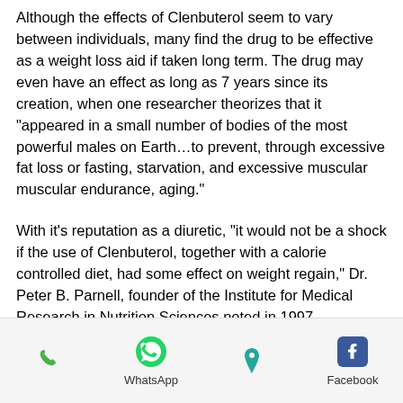Although the effects of Clenbuterol seem to vary between individuals, many find the drug to be effective as a weight loss aid if taken long term. The drug may even have an effect as long as 7 years since its creation, when one researcher theorizes that it "appeared in a small number of bodies of the most powerful males on Earth…to prevent, through excessive fat loss or fasting, starvation, and excessive muscular muscular endurance, aging."
With it's reputation as a diuretic, "it would not be a shock if the use of Clenbuterol, together with a calorie controlled diet, had some effect on weight regain," Dr. Peter B. Parnell, founder of the Institute for Medical Research in Nutrition Sciences noted in 1997.
[Figure (infographic): Mobile app footer bar with four icons: phone (green), WhatsApp (green), location pin (teal), Facebook (dark blue). WhatsApp and Facebook are labeled.]